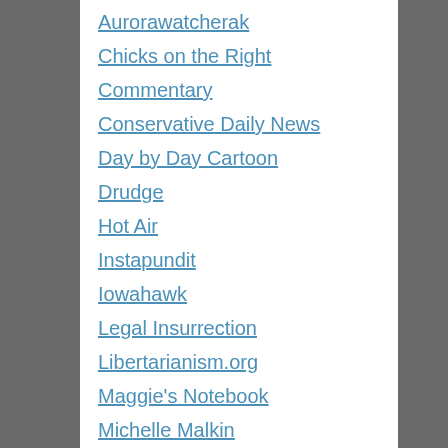Aurorawatcherak
Chicks on the Right
Commentary
Conservative Daily News
Day by Day Cartoon
Drudge
Hot Air
Instapundit
Iowahawk
Legal Insurrection
Libertarianism.org
Maggie's Notebook
Michelle Malkin
Moe Lane
Newsbusters
Ninety Miles From Tyranny